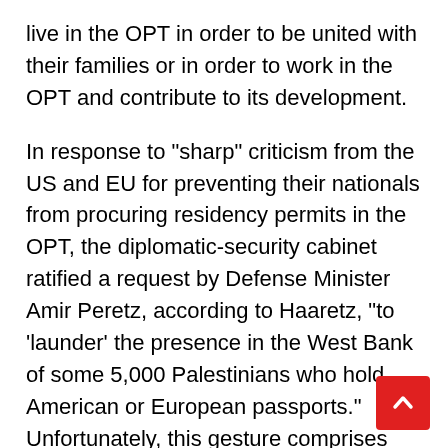live in the OPT in order to be united with their families or in order to work in the OPT and contribute to its development.

In response to "sharp" criticism from the US and EU for preventing their nationals from procuring residency permits in the OPT, the diplomatic-security cabinet ratified a request by Defense Minister Amir Peretz, according to Haaretz, "to 'launder' the presence in the West Bank of some 5,000 Palestinians who hold American or European passports." Unfortunately, this gesture comprises barely a single underwear from the dirty wash that Israel needs to launder. Furthermore, it is bound to create internal conflict among the Palestinians. How are they supposed to fairly divvy up this
[Figure (other): Back to top button — red square with white upward chevron arrow, bottom-right corner]